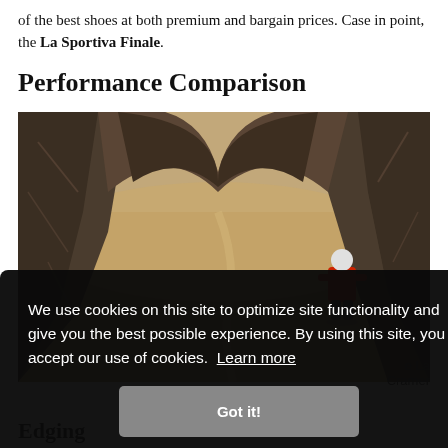of the best shoes at both premium and bargain prices. Case in point, the La Sportiva Finale.
Performance Comparison
[Figure (photo): A climber in a red jacket and white helmet standing on a rocky ledge inside a large rock arch or cave opening, with a desert landscape and winding trail visible in the background below.]
We use cookies on this site to optimize site functionality and give you the best possible experience. By using this site, you accept our use of cookies. Learn more
Got it!
e La
Cramer
Edging